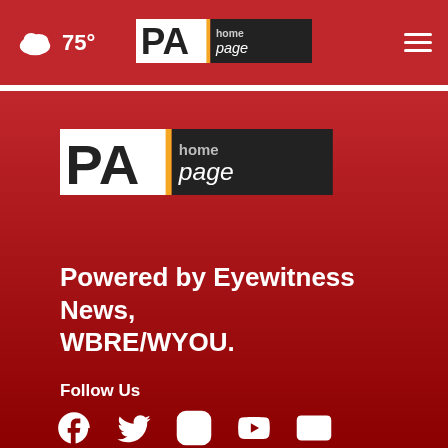75° PA Homepage header with weather, logo, and hamburger menu
[Figure (logo): PA Homepage logo - large version on red background]
Powered by Eyewitness News, WBRE/WYOU.
Follow Us
[Figure (infographic): Social media icons: Facebook, Twitter, Instagram, YouTube, Email]
News App
Weather App